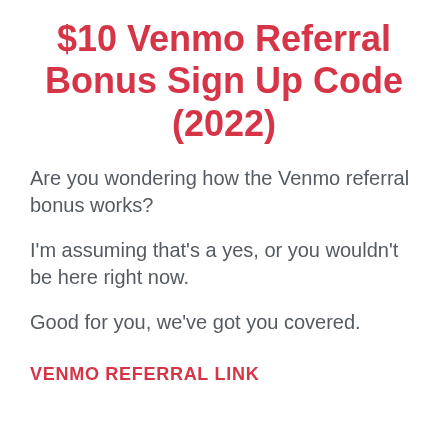$10 Venmo Referral Bonus Sign Up Code (2022)
Are you wondering how the Venmo referral bonus works?
I'm assuming that's a yes, or you wouldn't be here right now.
Good for you, we've got you covered.
VENMO REFERRAL LINK